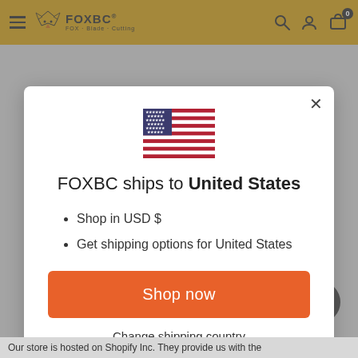FOXBC — FOX Blade Cutting (navigation bar with logo, search, account, cart icons)
[Figure (screenshot): US flag icon shown at top center of modal dialog]
FOXBC ships to United States
Shop in USD $
Get shipping options for United States
Shop now
Change shipping country
Our store is hosted on Shopify Inc. They provide us with the